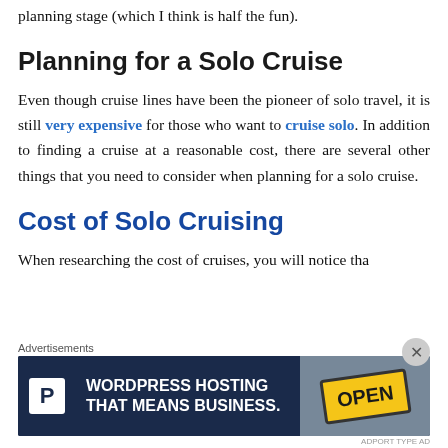planning stage (which I think is half the fun).
Planning for a Solo Cruise
Even though cruise lines have been the pioneer of solo travel, it is still very expensive for those who want to cruise solo. In addition to finding a cruise at a reasonable cost, there are several other things that you need to consider when planning for a solo cruise.
Cost of Solo Cruising
When researching the cost of cruises, you will notice tha
[Figure (screenshot): Advertisement banner: 'Advertisements' label above a dark navy banner with 'P' logo box on left, text 'WORDPRESS HOSTING THAT MEANS BUSINESS.' in white bold, and a photo of an OPEN sign on the right. A close (X) button overlays the top-right corner of the ad.]